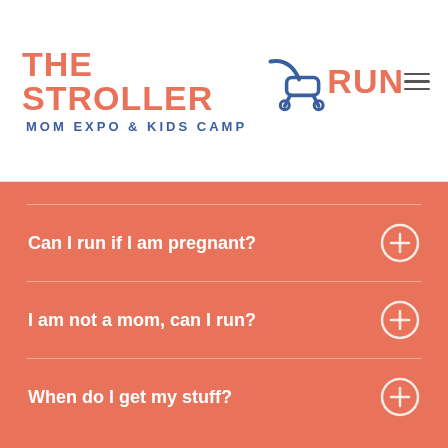[Figure (logo): The Stroller Run logo with stroller icon, salmon/coral text for main title and blue for subtitle 'MOM EXPO & KIDS CAMP']
Can I run if I am pregnant?
I am not a mom, can I run?
When do I get my stuff?